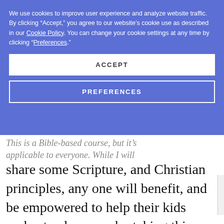that financially literacy in your ... if we start our kids off with the right mindset, we won't have as many people digging their way out of piles of debt in their adult life.
We use cookies to improve user experience and analyze website traffic. By clicking “Accept,” you agree to our website’s cookie use as described in our Cookie Policy. You can change your cookie settings at any time by clicking “Preferences.”
ACCEPT
PREFERENCES
This is a Bible-based course, but it’s applicable to everyone. While I will share some Scripture, and Christian principles, any one will benefit, and be empowered to help their kids understand money, by taking this course.